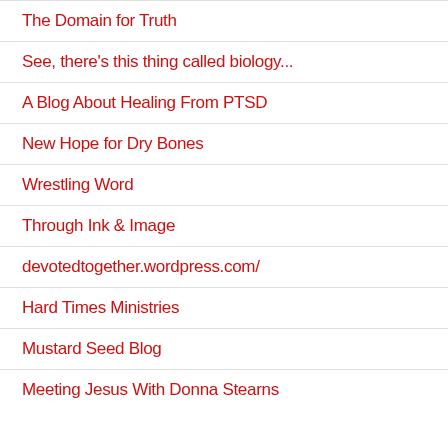The Domain for Truth
See, there's this thing called biology...
A Blog About Healing From PTSD
New Hope for Dry Bones
Wrestling Word
Through Ink & Image
devotedtogether.wordpress.com/
Hard Times Ministries
Mustard Seed Blog
Meeting Jesus With Donna Stearns